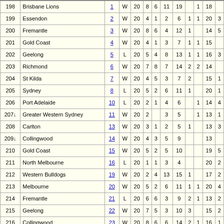| # | Team | Rd | W/L | Sc | G | B | P | T | HB | M | FF | FA |
| --- | --- | --- | --- | --- | --- | --- | --- | --- | --- | --- | --- | --- |
| 198 | Brisbane Lions | 1 | W | 20 | 8 | 6 | 11 | 19 |  | 1 | 18 |  |
| 199 | Essendon | 2 | W | 20 | 4 | 1 | 2 | 6 | 1 | 1 | 20 | 3 |
| 200 | Fremantle | 3 | W | 20 | 8 | 6 | 4 | 12 | 1 |  | 14 | 5 |
| 201 | Gold Coast | 4 | W | 20 | 4 | 1 | 3 | 7 | 1 | 1 | 15 |  |
| 202 | Geelong | 5 | L | 20 | 5 | 4 | 8 | 13 | 1 | 1 | 16 | 3 |
| 203 | Richmond | 6 | W | 20 | 7 | 8 | 7 | 14 | 2 | 2 | 14 |  |
| 204 | St Kilda | 7 | W | 20 | 4 | 5 | 3 | 7 | 2 |  | 15 | 1 |
| 205 | Sydney | 8 | L | 20 | 5 | 2 | 6 | 11 | 1 |  | 20 | 1 |
| 206 | Port Adelaide | 10 | L | 20 | 2 | 1 | 4 | 6 |  | 1 | 14 | 4 |
| 207↓ | Greater Western Sydney | 11 | W | 20 | 2 |  | 3 | 5 |  | 1 | 13 | 1 |
| 208 | Carlton | 13 | W | 20 | 3 | 1 | 2 | 5 | 1 |  | 13 | 3 |
| 209↓ | Collingwood | 14 | W | 20 | 4 | 3 | 5 | 9 |  |  | 13 |  |
| 210 | Gold Coast | 15 | W | 20 | 5 | 2 | 5 | 10 |  |  | 19 | 5 |
| 211 | North Melbourne | 16 | L | 20 | 1 | 1 | 3 | 4 |  |  | 20 | 2 |
| 212 | Western Bulldogs | 19 | W | 20 | 2 | 4 | 13 | 15 | 1 |  | 17 | 2 |
| 213 | Melbourne | 20 | W | 20 | 5 | 2 | 6 | 11 | 1 | 1 | 20 | 4 |
| 214 | Fremantle | 21 | L | 20 | 6 | 6 | 3 | 9 | 2 | 1 | 13 | 2 |
| 215 | Geelong | 22 | W | 20 | 7 | 5 | 3 | 10 | 3 |  | 15 | 2 |
| 216 | Collingwood | 23 | W | 20 | 8 | 6 | 6 | 14 | 2 | 1 | 16 | 1 |
| 217 | Geelong | QF | W | 20 | 4 | 8 | 11 | 15 | 1 |  | 24 | 3 |
| 218 | Port Adelaide | PF | W | 20 | 5 | 2 | 10 | 15 | 1 |  | 21 | 6 |